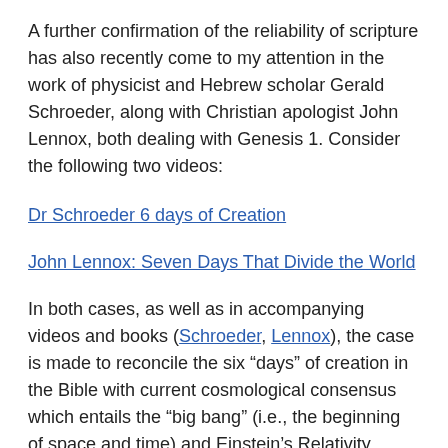A further confirmation of the reliability of scripture has also recently come to my attention in the work of physicist and Hebrew scholar Gerald Schroeder, along with Christian apologist John Lennox, both dealing with Genesis 1. Consider the following two videos:
Dr Schroeder 6 days of Creation
John Lennox: Seven Days That Divide the World
In both cases, as well as in accompanying videos and books (Schroeder, Lennox), the case is made to reconcile the six “days” of creation in the Bible with current cosmological consensus which entails the “big bang” (i.e., the beginning of space and time) and Einstein’s Relativity, combined with pre-modern science era deep understanding of the Hebrew text by Talmudic scholars